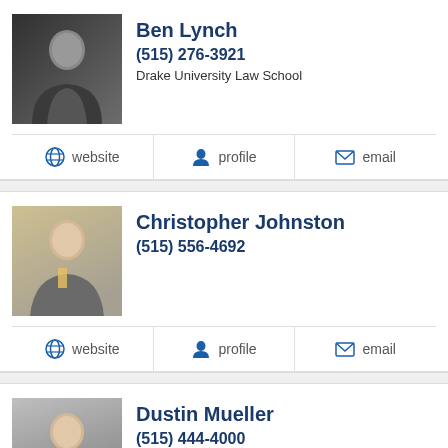[Figure (photo): Headshot of Ben Lynch, man in dark suit]
Ben Lynch
(515) 276-3921
Drake University Law School
website   profile   email
[Figure (photo): Headshot of Christopher Johnston, man in suit with yellow tie]
Christopher Johnston
(515) 556-4692
website   profile   email
[Figure (photo): Headshot of Dustin Mueller, young man in dark suit]
Dustin Mueller
(515) 444-4000